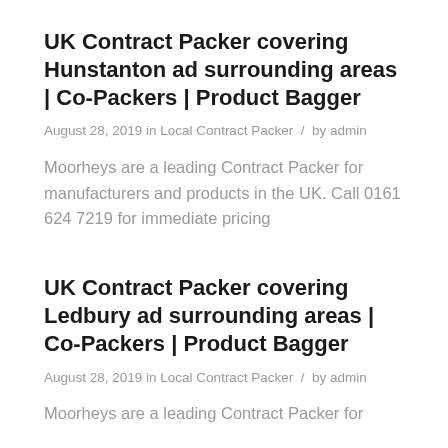UK Contract Packer covering Hunstanton ad surrounding areas | Co-Packers | Product Bagger
August 28, 2019 in Local Contract Packer  /  by admin
Moorheys are a leading Contract Packer for manufacturers and products in the UK. Call 0161 624 7219 for immediate pricing
UK Contract Packer covering Ledbury ad surrounding areas | Co-Packers | Product Bagger
August 28, 2019 in Local Contract Packer  /  by admin
Moorheys are a leading Contract Packer for